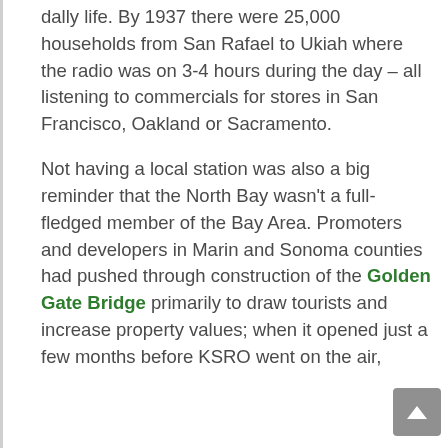dally life. By 1937 there were 25,000 households from San Rafael to Ukiah where the radio was on 3-4 hours during the day – all listening to commercials for stores in San Francisco, Oakland or Sacramento.
Not having a local station was also a big reminder that the North Bay wasn't a full-fledged member of the Bay Area. Promoters and developers in Marin and Sonoma counties had pushed through construction of the Golden Gate Bridge primarily to draw tourists and increase property values; when it opened just a few months before KSRO went on the air,